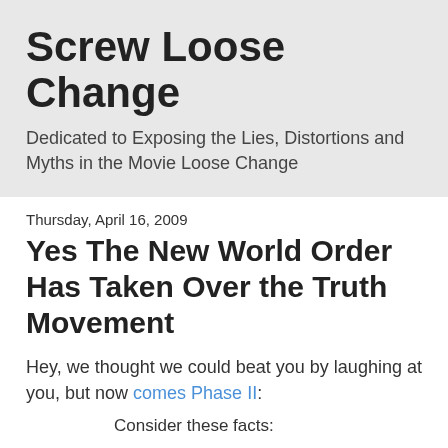Screw Loose Change
Dedicated to Exposing the Lies, Distortions and Myths in the Movie Loose Change
Thursday, April 16, 2009
Yes The New World Order Has Taken Over the Truth Movement
Hey, we thought we could beat you by laughing at you, but now comes Phase II:
Consider these facts:
1. All of a sudden, starting around late last fall, right when the stock market crash was going on, with a vengeance, the mass corporatist media began telling us that there is a New World Order